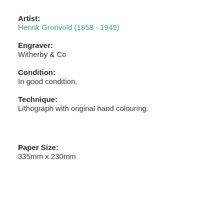Artist:
Henrik Gronvold (1858 - 1940)
Engraver:
Witherby & Co
Condition:
In good condition.
Technique:
Lithograph with original hand colouring.
Paper Size:
335mm x 230mm